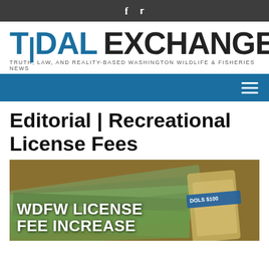f  🐦
[Figure (logo): TIDAL EXCHANGE logo with tagline: TRUTH, LAW, AND REALITY-BASED WASHINGTON WILDLIFE & FISHERIES NEWS]
Navigation bar with hamburger menu
Editorial | Recreational License Fees
[Figure (photo): Image of bundled US dollar bills with overlay text reading WDFW LICENSE FEE INCREASE and a $100 bill band visible on the right]